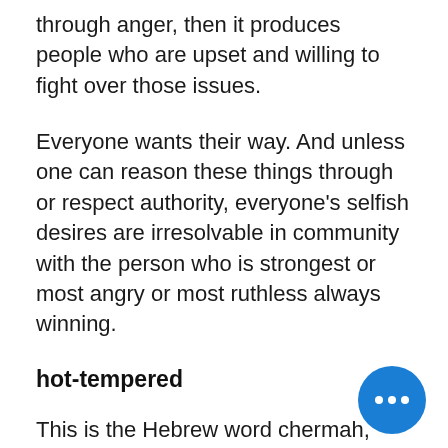through anger, then it produces people who are upset and willing to fight over those issues.
Everyone wants their way. And unless one can reason these things through or respect authority, everyone's selfish desires are irresolvable in community with the person who is strongest or most angry or most ruthless always winning.
hot-tempered
This is the Hebrew word chermah, which means heat or rage. It is another word for anger and wra hot displeasure. It is a stronger of anger than the previous word.